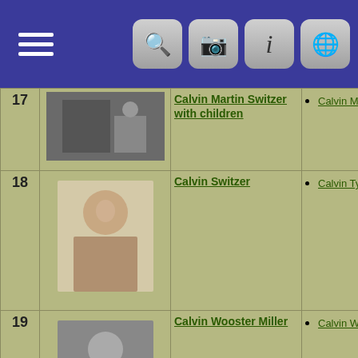Navigation header with hamburger menu and icons for search, camera, info, and globe
| # | Photo | Title | People |
| --- | --- | --- | --- |
| 17 | [photo] | Calvin Martin Switzer with children | Calvin Martin Switzer |
| 18 | [photo] | Calvin Switzer | Calvin Tyler Switzer |
| 19 | [photo] | Calvin Wooster Miller | Calvin Wooster Miller |
| 20 | [photo] | Cephas Hulburt Miller J.P. | Cephus Hulburt Miller, J.P. |
| 21 | [photo] | Charles & Lillian Martin's Home 208 Wyoming Ave. Watertown, NY | Charles George Martin
Lillian May Switzer |
| 22 | [photo] | Christina Fox | Christina Madeline Fox |